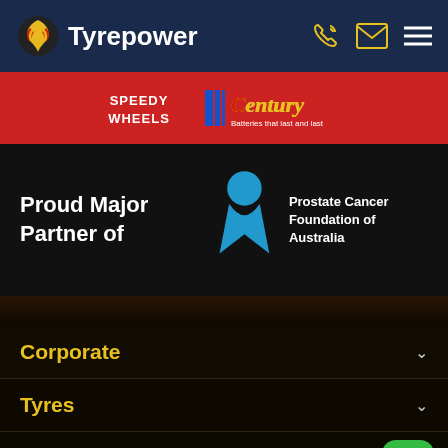Tyrepower
[Figure (logo): Tyrepower logo with circular flame icon and white text on dark navy background, with phone, email and menu icons on the right]
[Figure (logo): Red banner with Speedy Wheels logo and Century Batteries logo (Batteries that last and last)]
Proud Major Partner of
[Figure (logo): Prostate Cancer Foundation of Australia logo - blue ribbon/figure icon with white text on dark background]
Corporate
Tyres
Specials by State
Wheels